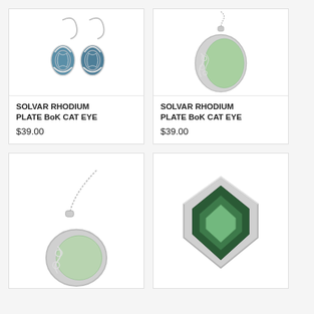[Figure (photo): Solvar rhodium plate BoK cat eye teardrop earrings with blue cat eye stones and Celtic knotwork, silver fish-hook style]
SOLVAR RHODIUM PLATE BoK CAT EYE
$39.00
[Figure (photo): Solvar rhodium plate BoK cat eye oval pendant necklace with pale green cat eye stone and Celtic knotwork overlay, silver chain]
SOLVAR RHODIUM PLATE BoK CAT EYE
$39.00
[Figure (photo): Solvar rhodium plate BoK cat eye oval pendant necklace on silver chain, partially visible]
[Figure (photo): Solvar rhodium plate BoK cat eye pointed/marquise pendant with dark green layered cat eye stone, silver surround]